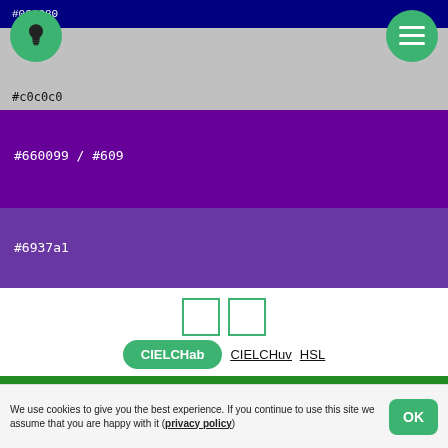#000080
#c0c0c0
#660099 / #609
#6937a1
[Figure (screenshot): Two small green-outlined squares centered on white background]
CIELCHab   CIELCHuv   HSL
□□□□□□□ (green bar with placeholder text)
We use cookies to give you the best experience. If you continue to use this site we assume that you are happy with it (privacy policy)